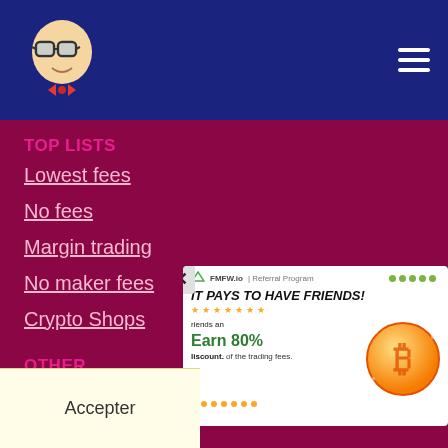[Figure (logo): Website logo: cartoon bald man with glasses and bow tie]
Navigation header with logo and hamburger menu
TOP LISTS
Lowest fees
No fees
Margin trading
No maker fees
Crypto Shops
OTHER
FAQ
Glossary
Privacy
Blog
E...
I...s
[Figure (infographic): FMFW.io Referral Program ad: IT PAYS TO HAVE FRIENDS! Earn 80% of the trading fees. Give friends a discount.]
Accepter